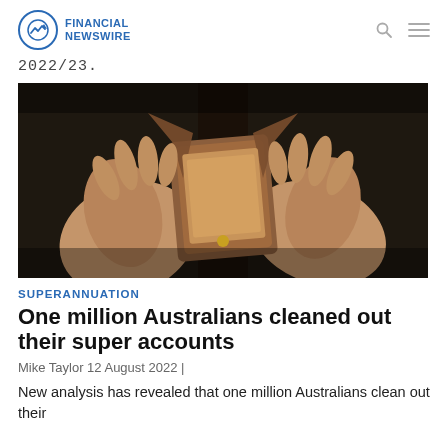FINANCIAL NEWSWIRE
2022/23.
[Figure (photo): Hands holding open an empty brown leather wallet against a dark background]
SUPERANNUATION
One million Australians cleaned out their super accounts
Mike Taylor 12 August 2022 |
New analysis has revealed that one million Australians clean out their